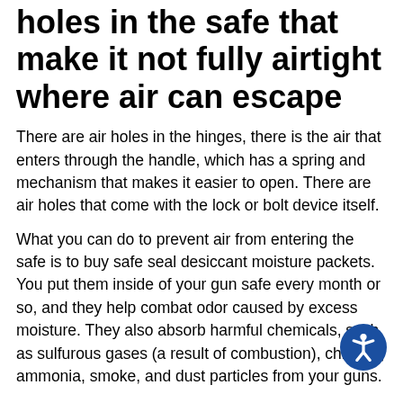holes in the safe that make it not fully airtight where air can escape
There are air holes in the hinges, there is the air that enters through the handle, which has a spring and mechanism that makes it easier to open. There are air holes that come with the lock or bolt device itself.
What you can do to prevent air from entering the safe is to buy safe seal desiccant moisture packets. You put them inside of your gun safe every month or so, and they help combat odor caused by excess moisture. They also absorb harmful chemicals, such as sulfurous gases (a result of combustion), chlorine, ammonia, smoke, and dust particles from your guns.
Safe seal desiccant packets can be purchased from airtight safe companies so you don't have to do any searching or buy them off the internet.
Having air holes might seem like a bad thing, but it's